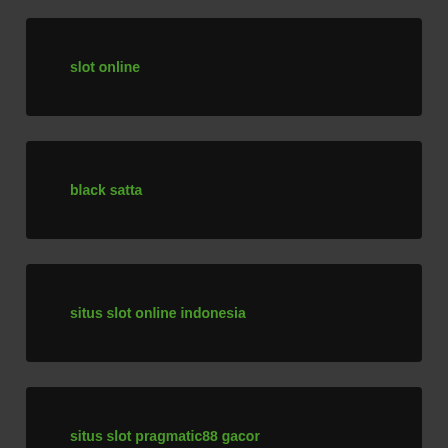slot online
black satta
situs slot online indonesia
situs slot pragmatic88 gacor